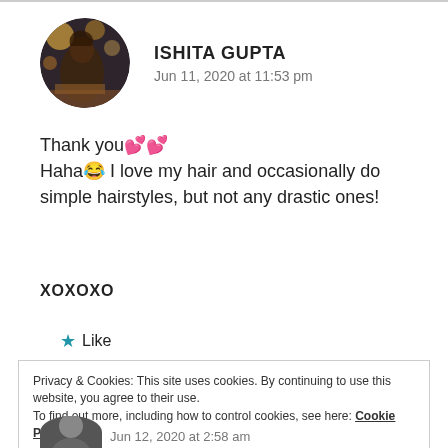[Figure (photo): Circular avatar photo of Ishita Gupta showing bokeh lights background]
ISHITA GUPTA
Jun 11, 2020 at 11:53 pm
Thank you💕💕
Haha😂 I love my hair and occasionally do simple hairstyles, but not any drastic ones!
XOXOXO
★ Like
Privacy & Cookies: This site uses cookies. By continuing to use this website, you agree to their use.
To find out more, including how to control cookies, see here: Cookie Policy
Close and accept
Jun 12, 2020 at 2:58 am